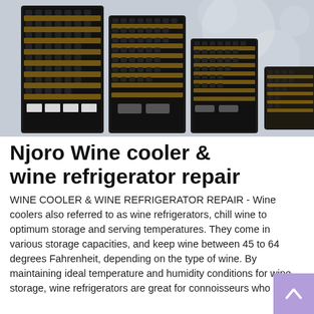[Figure (photo): Four black wine cooler/wine refrigerator units of varying sizes displayed side by side against a light grey background with circular bokeh shapes.]
Njoro Wine cooler & wine refrigerator repair
WINE COOLER & WINE REFRIGERATOR REPAIR - Wine coolers also referred to as wine refrigerators, chill wine to optimum storage and serving temperatures. They come in various storage capacities, and keep wine between 45 to 64 degrees Fahrenheit, depending on the type of wine. By maintaining ideal temperature and humidity conditions for wine storage, wine refrigerators are great for connoisseurs who